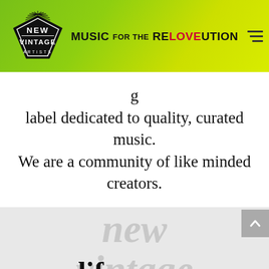[Figure (logo): New Vintage Artists logo — black diamond/badge shape with 'NEW VINTAGE' text and 'ARTISTS' below, with starburst rays on top]
MUSIC FOR THE RELOVUTION
label dedicated to quality, curated music. We are a community of like minded creators.
new vintage lif...